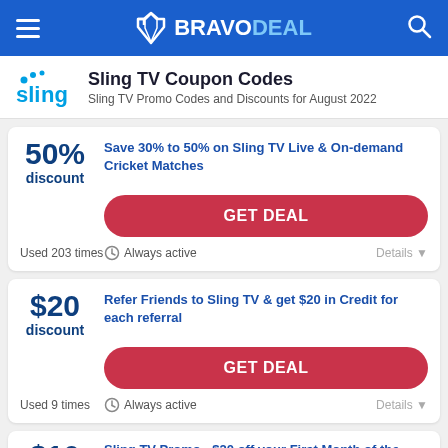BRAVODEAL
Sling TV Coupon Codes
Sling TV Promo Codes and Discounts for August 2022
50% discount — Save 30% to 50% on Sling TV Live & On-demand Cricket Matches — GET DEAL — Used 203 times — Always active — Details
$20 discount — Refer Friends to Sling TV & get $20 in Credit for each referral — GET DEAL — Used 9 times — Always active — Details
$10 — Sling TV Promo - $20 off your First Month of the Orange Plan $10